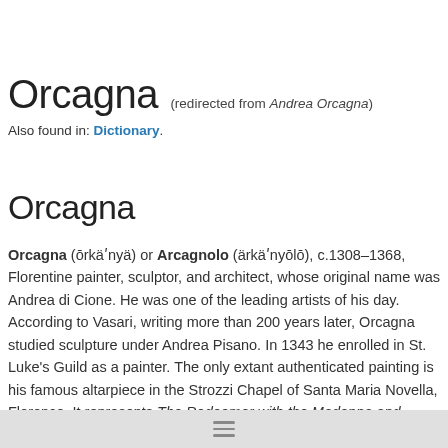Orcagna (redirected from Andrea Orcagna)
Also found in: Dictionary.
Orcagna
Orcagna (ōrkäʹnyä) or Arcagnolo (ärkäʹnyōlō), c.1308–1368, Florentine painter, sculptor, and architect, whose original name was Andrea di Cione. He was one of the leading artists of his day. According to Vasari, writing more than 200 years later, Orcagna studied sculpture under Andrea Pisano. In 1343 he enrolled in St. Luke's Guild as a painter. The only extant authenticated painting is his famous altarpiece in the Strozzi Chapel of Santa Maria Novella, Florence. It represents The Redeemer with the Madonna and Saints (1537). In his painting he reverted from a more naturalistic style to the Byzantine remote and monumental figural type. He usually worked in collaboration with his brothers Nardo, Jacopo, and Matteo di Cione. They were all stro… nfluenced by the naturalism of